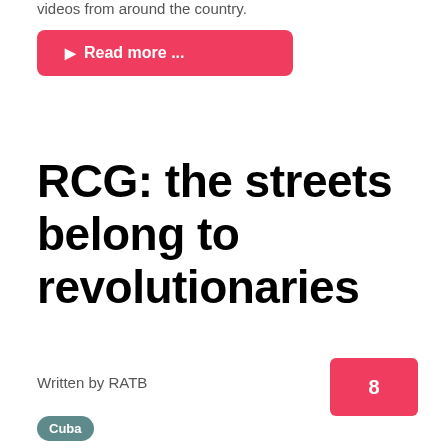videos from around the country.
Read more ...
RCG: the streets belong to revolutionaries
Written by RATB
8
Cuba